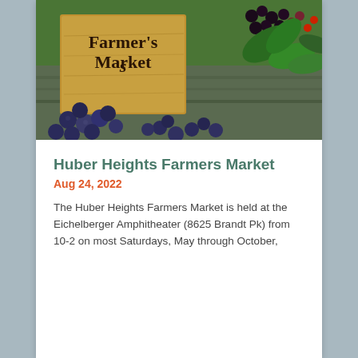[Figure (photo): A Farmer's Market wooden sign with blackberries, blueberries, and green leafy produce arranged around it on a wooden surface.]
Huber Heights Farmers Market
Aug 24, 2022
The Huber Heights Farmers Market is held at the Eichelberger Amphitheater (8625 Brandt Pk) from 10-2 on most Saturdays, May through October,